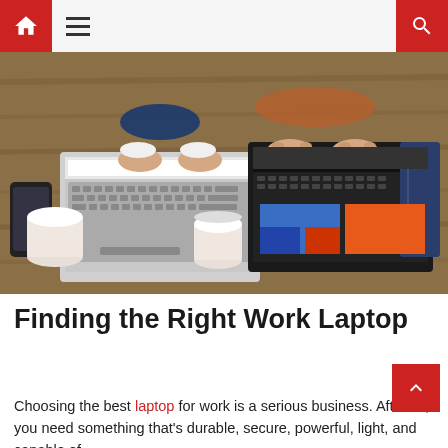Navigation header with home icon, hamburger menu, and search icon
[Figure (photo): Overhead view of two people typing on laptops on a wooden desk, with coffee cups, a smartphone, and a notebook visible]
Finding the Right Work Laptop
Choosing the best laptop for work is a serious business. After all, you need something that's durable, secure, powerful, light, and capable of